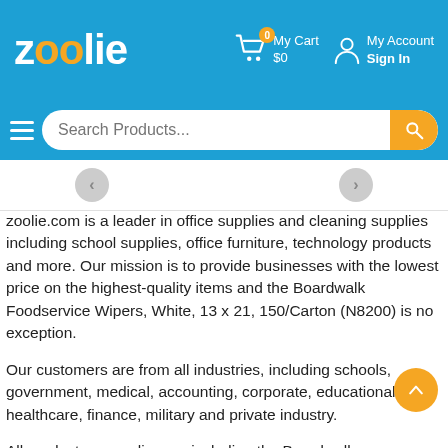[Figure (screenshot): Zoolie.com website header with logo, My Cart ($0, 0 items), My Account Sign In, search bar with hamburger menu, and slider navigation arrows]
zoolie.com is a leader in office supplies and cleaning supplies including school supplies, office furniture, technology products and more. Our mission is to provide businesses with the lowest price on the highest-quality items and the Boardwalk Foodservice Wipers, White, 13 x 21, 150/Carton (N8200) is no exception.
Our customers are from all industries, including schools, government, medical, accounting, corporate, educational, healthcare, finance, military and private industry.
All products on zoolie.com including the Boardwalk Foodservice Wipers, White, 13 x 21, 150/Carton (N8200) are manufactured